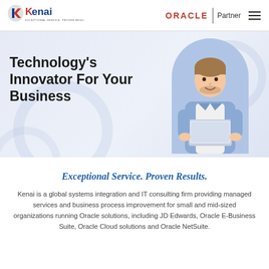[Figure (logo): Kenai logo with red K arrow icon and blue/red text, subtitle: EXCEPTIONAL SERVICE. PROVEN RESULTS.]
[Figure (logo): ORACLE Partner logo with red Oracle wordmark and Partner text, separated by vertical line, hamburger menu icon]
[Figure (illustration): Hero banner with light blue/grey gradient background, decorative circles, and a smiling man holding a laptop standing in a blue arched frame]
Technology's Innovator For Your Business
Exceptional Service. Proven Results.
Kenai is a global systems integration and IT consulting firm providing managed services and business process improvement for small and mid-sized organizations running Oracle solutions, including JD Edwards, Oracle E-Business Suite, Oracle Cloud solutions and Oracle NetSuite.